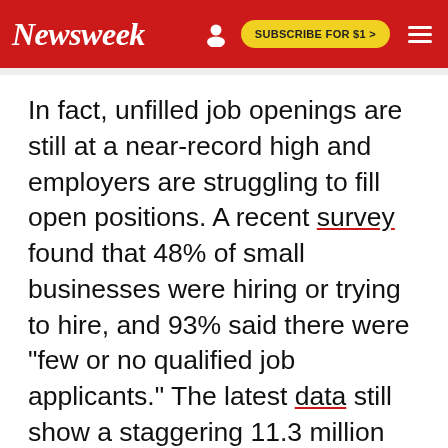Newsweek | SUBSCRIBE FOR $1 >
In fact, unfilled job openings are still at a near-record high and employers are struggling to fill open positions. A recent survey found that 48% of small businesses were hiring or trying to hire, and 93% said there were "few or no qualified job applicants." The latest data still show a staggering 11.3 million job openings, even though there are 6.2 million unemployed Americans trying to find a job.